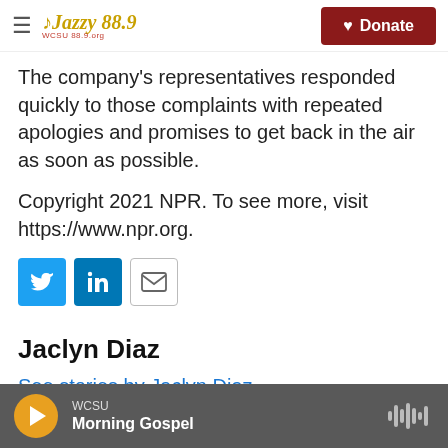Jazzy 88.9 | Donate
The company's representatives responded quickly to those complaints with repeated apologies and promises to get back in the air as soon as possible.
Copyright 2021 NPR. To see more, visit https://www.npr.org.
[Figure (infographic): Social share buttons: Twitter (blue), LinkedIn (blue), Email (outline)]
Jaclyn Diaz
See stories by Jaclyn Diaz
WCSU Morning Gospel (player bar with play button and waveform icon)